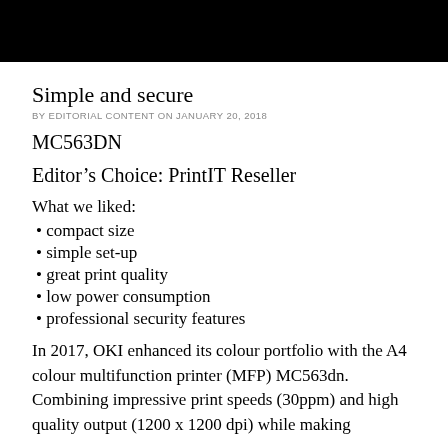[Figure (photo): Black header image bar at top of page]
Simple and secure
BY EDITORIAL CONTENT ON JANUARY 20, 2018
MC563DN
Editor’s Choice: PrintIT Reseller
What we liked:
compact size
simple set-up
great print quality
low power consumption
professional security features
In 2017, OKI enhanced its colour portfolio with the A4 colour multifunction printer (MFP) MC563dn. Combining impressive print speeds (30ppm) and high quality output (1200 x 1200 dpi) while making...